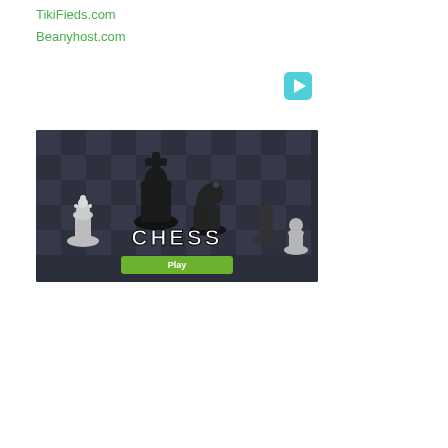TikiFieds.com
Beanyhost.com
[Figure (logo): Google Play triangle play button icon in teal/cyan color]
[Figure (screenshot): Chess game app banner showing chess pieces (king, knight, pawns) on a dark chessboard background with CHESS title text and a green Play button at the bottom]